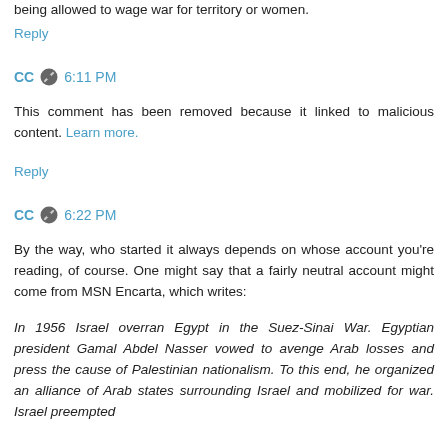being allowed to wage war for territory or women.
Reply
CC 6:11 PM
This comment has been removed because it linked to malicious content. Learn more.
Reply
CC 6:22 PM
By the way, who started it always depends on whose account you're reading, of course. One might say that a fairly neutral account might come from MSN Encarta, which writes:
In 1956 Israel overran Egypt in the Suez-Sinai War. Egyptian president Gamal Abdel Nasser vowed to avenge Arab losses and press the cause of Palestinian nationalism. To this end, he organized an alliance of Arab states surrounding Israel and mobilized for war. Israel preempted